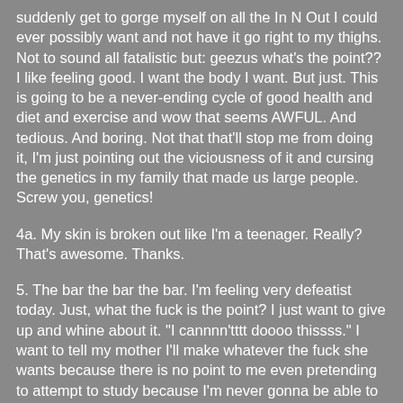suddenly get to gorge myself on all the In N Out I could ever possibly want and not have it go right to my thighs. Not to sound all fatalistic but: geezus what's the point?? I like feeling good. I want the body I want. But just. This is going to be a never-ending cycle of good health and diet and exercise and wow that seems AWFUL. And tedious. And boring. Not that that'll stop me from doing it, I'm just pointing out the viciousness of it and cursing the genetics in my family that made us large people. Screw you, genetics!
4a. My skin is broken out like I'm a teenager. Really? That's awesome. Thanks.
5. The bar the bar the bar. I'm feeling very defeatist today. Just, what the fuck is the point? I just want to give up and whine about it. "I cannnn'tttt doooo thissss." I want to tell my mother I'll make whatever the fuck she wants because there is no point to me even pretending to attempt to study because I'm never gonna be able to pass this and Wahhhhhh. I know. I need to stfu and carry on but man this sucksssss. Everyone in my family thinks I'm retarded anyway so what the hell ever. I dunno. I'm even internally